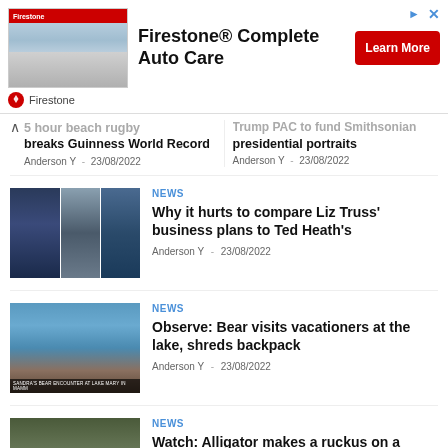[Figure (screenshot): Firestone Complete Auto Care advertisement banner with store photo and Learn More button]
...5 Hour beach rugby breaks Guinness World Record
Anderson Y - 23/08/2022
Trump PAC to fund Smithsonian presidential portraits
Anderson Y - 23/08/2022
[Figure (photo): Three-panel image of Liz Truss and Ted Heath politicians]
NEWS
Why it hurts to compare Liz Truss' business plans to Ted Heath's
Anderson Y - 23/08/2022
[Figure (photo): Bear encounter at Lake Mary in Mammoth video thumbnail]
NEWS
Observe: Bear visits vacationers at the lake, shreds backpack
Anderson Y - 23/08/2022
[Figure (photo): Alligator on South Carolina couple porch at night]
NEWS
Watch: Alligator makes a ruckus on a South Carolina couple's porch late at night